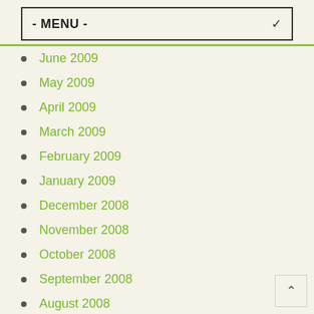- MENU -
June 2009
May 2009
April 2009
March 2009
February 2009
January 2009
December 2008
November 2008
October 2008
September 2008
August 2008
July 2008
June 2008
May 2008
April 2008
March 2008